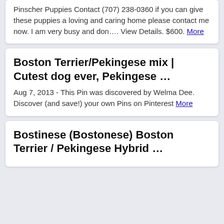Pinscher Puppies Contact (707) 238-0360 if you can give these puppies a loving and caring home please contact me now. I am very busy and don…. View Details. $600. More
Boston Terrier/Pekingese mix | Cutest dog ever, Pekingese …
Aug 7, 2013 - This Pin was discovered by Welma Dee. Discover (and save!) your own Pins on Pinterest More
Bostinese (Bostonese) Boston Terrier / Pekingese Hybrid …